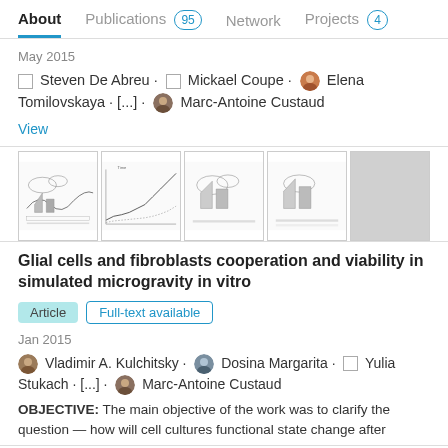About  Publications 95  Network  Projects 4
May 2015
Steven De Abreu · Mickael Coupe · Elena Tomilovskaya · [...] · Marc-Antoine Custaud
View
[Figure (other): Thumbnail images of scientific figures from the paper]
Glial cells and fibroblasts cooperation and viability in simulated microgravity in vitro
Article  Full-text available
Jan 2015
Vladimir A. Kulchitsky · Dosina Margarita · Yulia Stukach · [...] · Marc-Antoine Custaud
OBJECTIVE: The main objective of the work was to clarify the question — how will cell cultures functional state change after